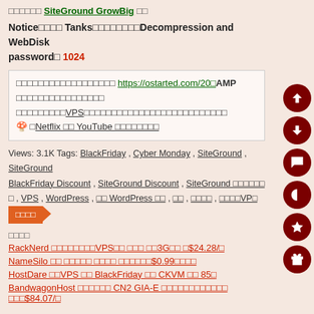□□□□□□ SiteGround GrowBig □□
Notice□□□□ Tanks□□□□□□□□Decompression and WebDisk password□ 1024
□□□□□□□□□□□□□□□□□□ https://ostarted.com/20□AMP □□□□□□□□□□□□□□□□ □□□□□□□□□VPS□□□□□□□□□□□□□□□□□□□□□□□□□□ 🍄 □Netflix □□ YouTube □□□□□□□□
Views: 3.1K Tags: BlackFriday , Cyber Monday , SiteGround , SiteGround BlackFriday Discount , SiteGround Discount , SiteGround □□□□□□ □ , VPS , WordPress , □□ WordPress □□ , □□ , □□□□ , □□□□VP□ □□□□
□□□□
RackNerd □□□□□□□□VPS□□ □□□ □□3G□□ □$24.28/□
NameSilo □□ □□□□□ □□□□ □□□□□□$0.99□□□□
HostDare □□VPS □□ BlackFriday □□ CKVM □□ 85□
BandwagonHost □□□□□□ CN2 GIA-E □□□□□□□□□□□□ □□□$84.07/□